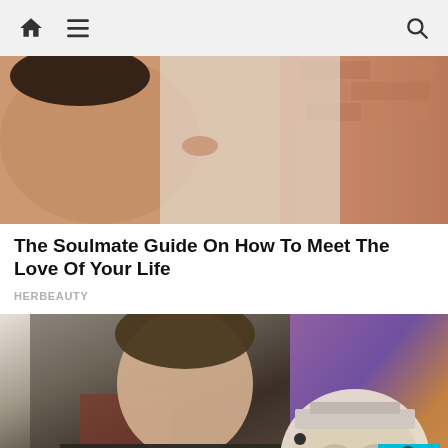Home Menu Search
[Figure (photo): A couple in an intimate pose, woman in black dress lying back, man in white shirt leaning over her, brick wall background]
The Soulmate Guide On How To Meet The Love Of Your Life
HERBEAUTY
[Figure (photo): A young man in a dark jacket next to a humanoid robot (Sophia) with exposed mechanical head components, colorful background]